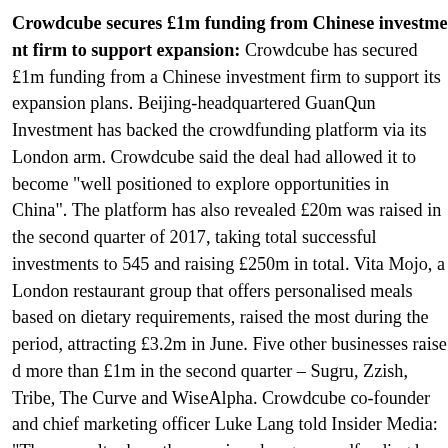Crowdcube secures £1m funding from Chinese investment firm to support expansion: Crowdcube has secured £1m funding from a Chinese investment firm to support its expansion plans. Beijing-headquartered GuanQun Investment has backed the crowdfunding platform via its London arm. Crowdcube said the deal had allowed it to become "well positioned to explore opportunities in China". The platform has also revealed £20m was raised in the second quarter of 2017, taking total successful investments to 545 and raising £250m in total. Vita Mojo, a London restaurant group that offers personalised meals based on dietary requirements, raised the most during the period, attracting £3.2m in June. Five other businesses raised more than £1m in the second quarter – Sugru, Zzish, Tribe, The Curve and WiseAlpha. Crowdcube co-founder and chief marketing officer Luke Lang told Insider Media: "These results show the massive change crowdfunding has undergone since we launched in 2011. More people are signing up, investors are investing more, companies are raising more – £250m in total – and UK plc can only benefit. Crowdc...